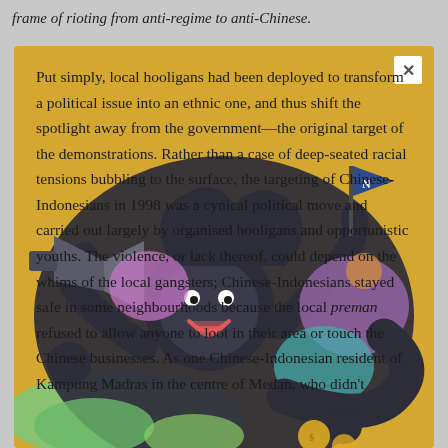frame of rioting from anti-regime to anti-Chinese.
[Figure (illustration): Cartoon illustration of a dark stylized monkey-like character holding a megaphone in one hand and a flag with 'N' in the other, surrounded by colorful blobs (purple, teal, green) on a golden/yellow background. Coins and green swirls appear at the bottom.]
Put simply, local hooligans had been deployed to transform a political issue into an ethnic one, and thus shift the spotlight away from the government—the original target of the demonstrations. Rather than a case of deep-seated racial tensions bubbling to the surface, the targeting of Chinese-Indonesians in 1998 was a cynical political move and carried out largely by organised hooligans and opportunistic youths. The violence, or lack thereof, could depend on the whims of the local gangsters; Chinese-Indonesians stayed safe in some neighbourhoods because the local preman refused to allow anyone to loot in their area or touch the Chinese businesses. As one Chinese-Indonesian resident of Kampung Madras in the centre of Medan, who didn't